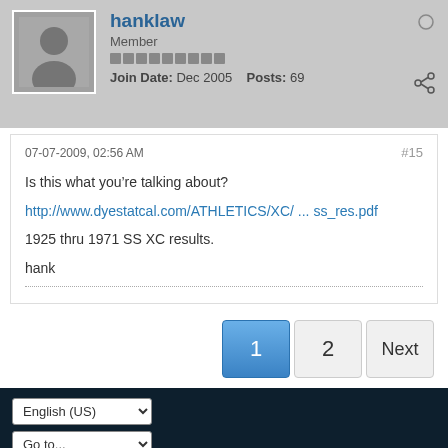hanklaw | Member | Join Date: Dec 2005 | Posts: 69
07-07-2009, 02:56 AM #15
Is this what you're talking about?
http://www.dyestatcal.com/ATHLETICS/XC/ ... ss_res.pdf
1925 thru 1971 SS XC results.
hank
1 2 Next
English (US) | Go to...